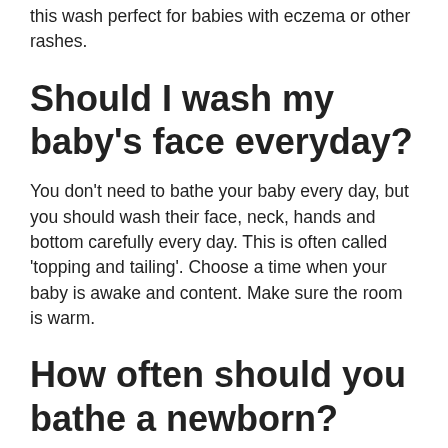this wash perfect for babies with eczema or other rashes.
Should I wash my baby’s face everyday?
You don’t need to bathe your baby every day, but you should wash their face, neck, hands and bottom carefully every day. This is often called ‘topping and tailing’. Choose a time when your baby is awake and content. Make sure the room is warm.
How often should you bathe a newborn?
How often does my newborn need a bath? They often need to give your newborn a bath.